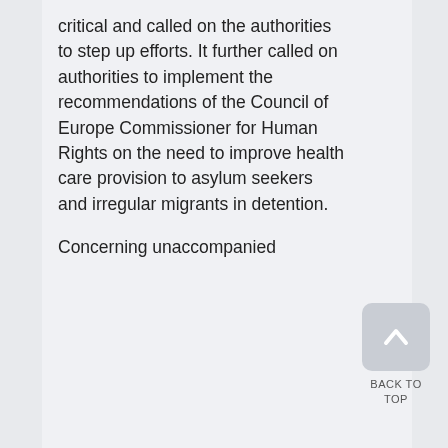critical and called on the authorities to step up efforts. It further called on authorities to implement the recommendations of the Council of Europe Commissioner for Human Rights on the need to improve health care provision to asylum seekers and irregular migrants in detention.
Concerning unaccompanied
[Figure (other): Back to top button: a rounded rectangle button with an upward-pointing chevron arrow, labeled BACK TO TOP below]